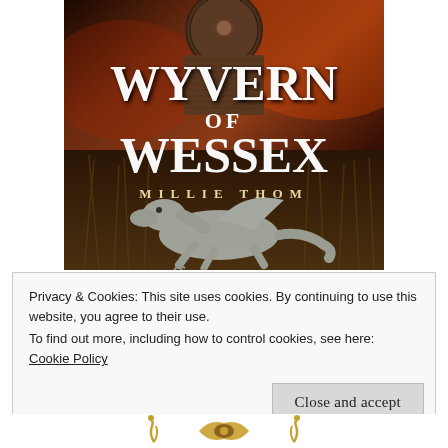[Figure (illustration): Book cover for 'Wyvern of Wessex' by Millie Thom. Dark medieval fantasy cover featuring a knight with shield and chainmail armor at top, large white text title in center, author name below, and a wyvern dragon creature at the bottom on a dark reddish-brown background with grass.]
Privacy & Cookies: This site uses cookies. By continuing to use this website, you agree to their use.
To find out more, including how to control cookies, see here:
Cookie Policy
Close and accept